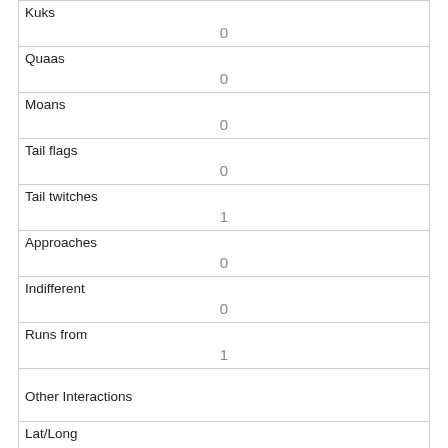| Kuks | 0 |
| Quaas | 0 |
| Moans | 0 |
| Tail flags | 0 |
| Tail twitches | 1 |
| Approaches | 0 |
| Indifferent | 0 |
| Runs from | 1 |
| Other Interactions |  |
| Lat/Long | POINT (-73.9647845655965 40.7816573808695) |